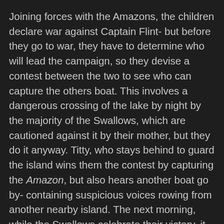Joining forces with the Amazons, the children declare war against Captain Flint- but before they go to war, they have to determine who will lead the campaign, so they devise a contest between the two to see who can capture the others boat. This involves a dangerous crossing of the lake by night by the majority of the Swallows, which are cautioned against it by their mother, but they do it anyway. Titty, who stays behind to guard the island wins them the contest by capturing the Amazon, but also hears another boat go by- containing suspicious voices rowing from another nearby island. The next morning, while the Swallows celebrate their victory, it is revealed that Captain Flint's houseboat has been burgled. Turner initially blames the Walkers again, but is convinced of their innocence and realizes that he was wrong to distance himself from his nieces all summer. He apologizes to John for accusing him of being involved in the initial attack on his houseboat and agrees to give them one hell of a fight as 'Captain Flint' if they come to take his houseboat.